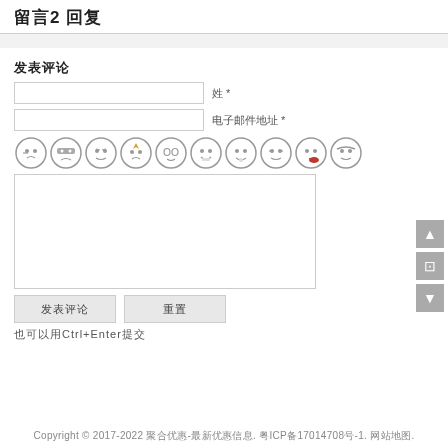留言2 回复
发表评论
姓 *
电子邮件地址 *
[Figure (illustration): Row of 10 emoji/emoticon face icons]
텍스트 영역 (comment box)
发表评论 button and 重置 button
也可以用Ctrl+Enter提交
Copyright © 2017-2022 聚合优惠-最新优惠信息. 粤ICP备17014708号-1. 网站地图.